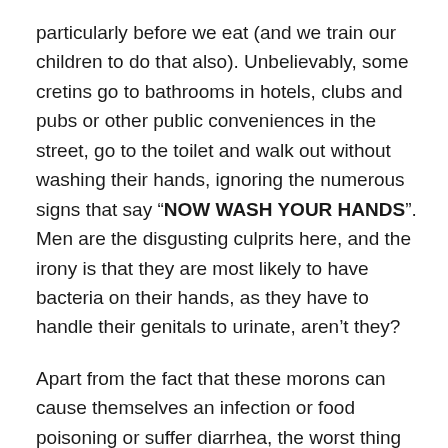particularly before we eat (and we train our children to do that also). Unbelievably, some cretins go to bathrooms in hotels, clubs and pubs or other public conveniences in the street, go to the toilet and walk out without washing their hands, ignoring the numerous signs that say “NOW WASH YOUR HANDS”. Men are the disgusting culprits here, and the irony is that they are most likely to have bacteria on their hands, as they have to handle their genitals to urinate, aren’t they?
Apart from the fact that these morons can cause themselves an infection or food poisoning or suffer diarrhea, the worst thing though is that they are also putting others’ health at the same risk (particularly children who are the most vulnerable). The germs clinging to their hands will contaminate things they touch – not least even